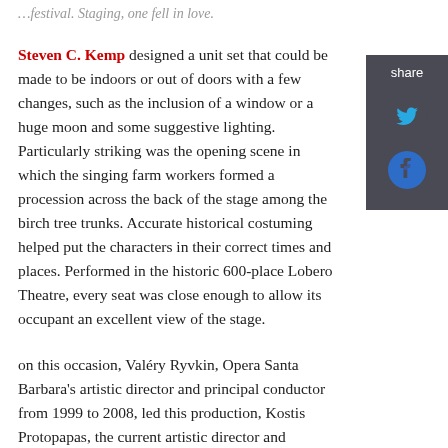designed a unit set that could be made to be indoors or out of doors with a few changes...
on this occasion, Valéry Ryvkin, Opera Santa Barbara's artistic director and principal conductor from 1999 to 2008, led this production, Kostis Protopapas, the current artistic director and principal conductor, acted as chorus master. Choral singing is